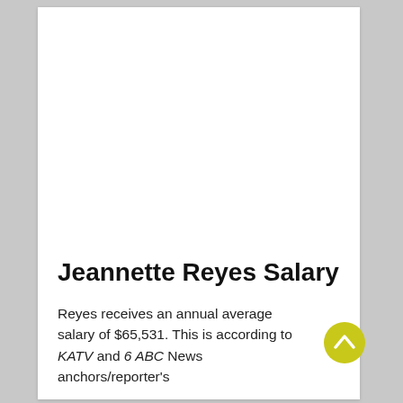Jeannette Reyes Salary
Reyes receives an annual average salary of $65,531. This is according to KATV and 6 ABC News anchors/reporter's